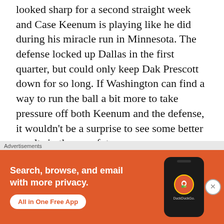looked sharp for a second straight week and Case Keenum is playing like he did during his miracle run in Minnesota. The defense locked up Dallas in the first quarter, but could only keep Dak Prescott down for so long. If Washington can find a way to run the ball a bit more to take pressure off both Keenum and the defense, it wouldn't be a surprise to see some better results in the near future.
ARIZONA  28. Arizona
[Figure (other): DuckDuckGo advertisement banner. Orange background with white text: 'Search, browse, and email with more privacy.' and 'All in One Free App' button. Shows a phone mockup with DuckDuckGo logo.]